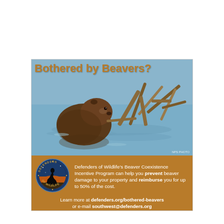[Figure (photo): Advertisement for Defenders of Wildlife Beaver Coexistence Incentive Program. Top portion shows a photograph of a beaver in water near a stick dam/lodge. Title text 'Bothered by Beavers?' overlaid in gold/brown. Bottom section is brown with Defenders of Wildlife circular logo on the left. Text describes the program and contact info.]
Bothered by Beavers?
Defenders of Wildlife's Beaver Coexistence Incentive Program can help you prevent beaver damage to your property and reimburse you for up to 50% of the cost.
Learn more at defenders.org/bothered-beavers or e-mail southwest@defenders.org